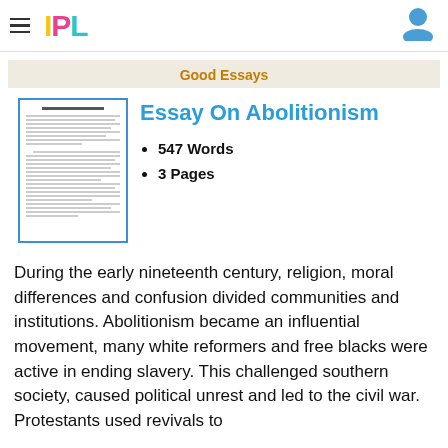IPL
Good Essays
Essay On Abolitionism
547 Words
3 Pages
[Figure (illustration): Thumbnail preview of the essay document showing lines of text on a white page with a blue border]
During the early nineteenth century, religion, moral differences and confusion divided communities and institutions. Abolitionism became an influential movement, many white reformers and free blacks were active in ending slavery. This challenged southern society, caused political unrest and led to the civil war. Protestants used revivals to